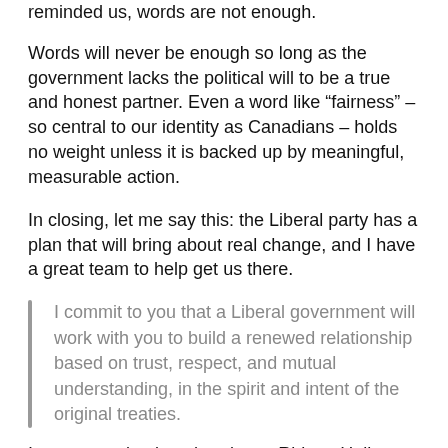reminded us, words are not enough.
Words will never be enough so long as the government lacks the political will to be a true and honest partner. Even a word like “fairness” – so central to our identity as Canadians – holds no weight unless it is backed up by meaningful, measurable action.
In closing, let me say this: the Liberal party has a plan that will bring about real change, and I have a great team to help get us there.
I commit to you that a Liberal government will work with you to build a renewed relationship based on trust, respect, and mutual understanding, in the spirit and intent of the original treaties.
I want to go back to that day at Rideau Hall during the